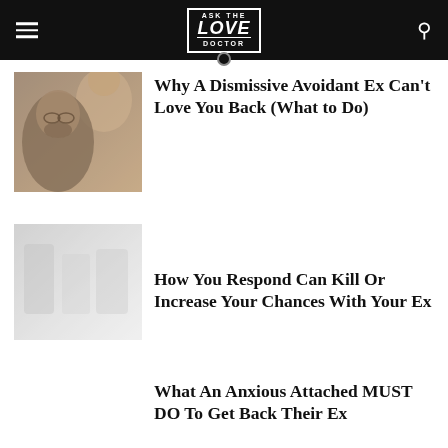ASK THE LOVE DOCTOR
[Figure (photo): Thumbnail photo of a man with glasses and a woman in the background, warm muted tones]
Why A Dismissive Avoidant Ex Can't Love You Back (What to Do)
[Figure (photo): Thumbnail placeholder image, light gray tones]
How You Respond Can Kill Or Increase Your Chances With Your Ex
What An Anxious Attached MUST DO To Get Back Their Ex